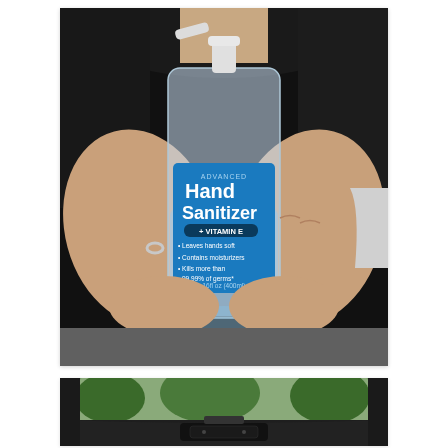[Figure (photo): Person in black clothing holding a large pump bottle of Advanced Hand Sanitizer with blue label showing '+ VITAMIN E', 'Leaves hands soft', 'Contains moisturizers', 'Kills more than 99.99% of germs*', and volume marking. The bottle is clear/translucent with a white pump dispenser on top.]
[Figure (photo): Partial view of a car interior dashboard/windshield area viewed from inside, showing the top of the dashboard and windshield with trees visible outside.]